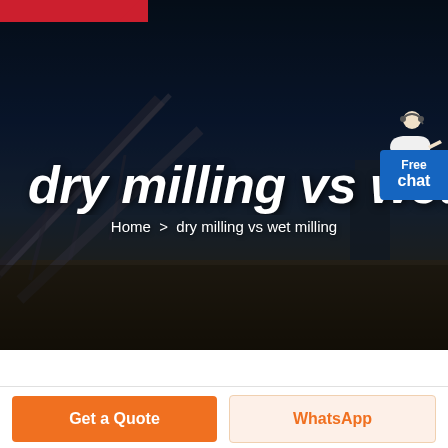[Figure (photo): Industrial mining/milling facility hero banner with conveyor belts and structures against a dark blue night sky background]
dry milling vs wet milling
Home > dry milling vs wet milling
Free chat
Get a Quote
WhatsApp